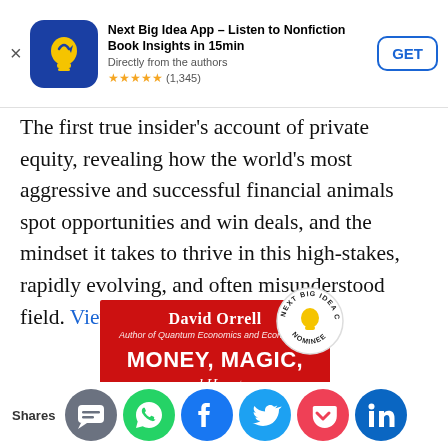[Figure (screenshot): App store ad banner for 'Next Big Idea App – Listen to Nonfiction Book Insights in 15min' with app icon, star rating (1,345 reviews), and GET button]
The first true insider's account of private equity, revealing how the world's most aggressive and successful financial animals spot opportunities and win deals, and the mindset it takes to thrive in this high-stakes, rapidly evolving, and often misunderstood field. View on Amazon
[Figure (photo): Book cover for 'Money, Magic, and How to ...' by David Orrell with Next Big Idea Club Nominee badge]
Shares [social sharing icons: SMS, WhatsApp, Facebook, Twitter, Pocket, LinkedIn]